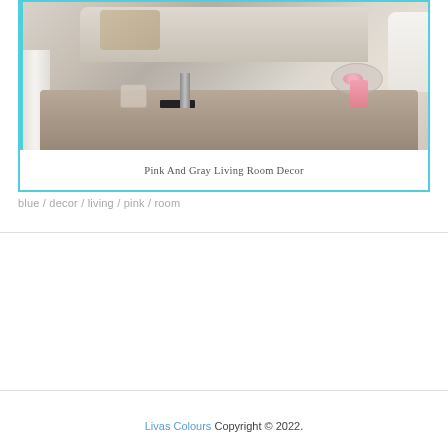[Figure (photo): Interior photo of a living room coffee table styled with decorative items including candle holders, a glass jar with pink stones, a black book, a pink candle in a glass holder on a tray, set on a rustic wooden coffee table. A cozy beige/cream sofa with a knit throw blanket is visible in the background.]
Pink And Gray Living Room Decor
blue / decor / living / pink / room
Livas Colours Copyright © 2022.